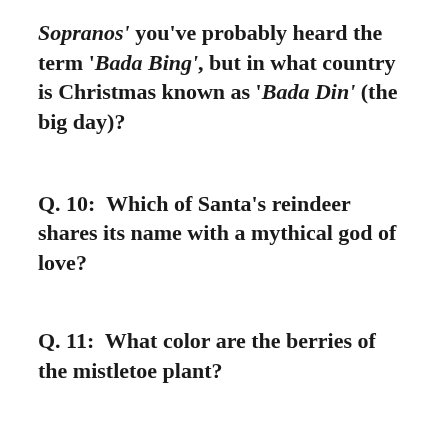Sopranos' you've probably heard the term 'Bada Bing', but in what country is Christmas known as 'Bada Din' (the big day)?
Q. 10:  Which of Santa's reindeer shares its name with a mythical god of love?
Q. 11:  What color are the berries of the mistletoe plant?